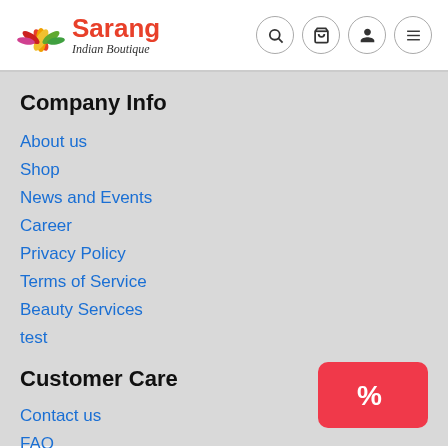[Figure (logo): Sarang Indian Boutique logo with lotus flower SVG and stylized text]
Company Info
About us
Shop
News and Events
Career
Privacy Policy
Terms of Service
Beauty Services
test
Customer Care
Contact us
FAQ
Search
Returns Policy
[Figure (other): Red discount/coupon button with percent sign icon]